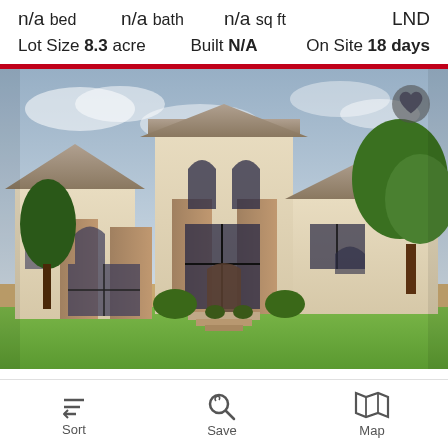n/a bed   n/a bath   n/a sq ft   LND
Lot Size 8.3 acre   Built N/A   On Site 18 days
[Figure (photo): Exterior photo of a large two-story stucco and brick home with arched windows, a grand entrance with steps, landscaping including shrubs and trees, and a green lawn in the foreground.]
Sort   Save   Map